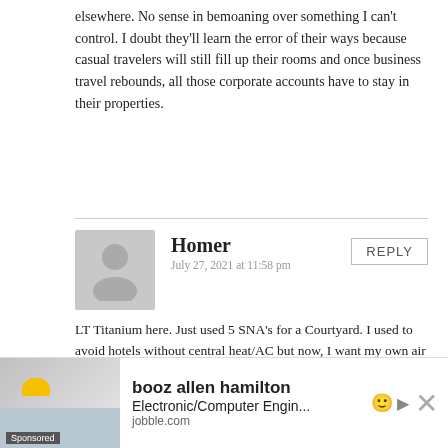elsewhere. No sense in bemoaning over something I can't control. I doubt they'll learn the error of their ways because casual travelers will still fill up their rooms and once business travel rebounds, all those corporate accounts have to stay in their properties.
Homer
July 27, 2021 at 11:58 pm
LT Titanium here. Just used 5 SNA's for a Courtyard. I used to avoid hotels without central heat/AC but now, I want my own air so a suite allows me to run the noisy AC in the room I am not occupying and the cool air flows into the other room and the distance attenuates the noise. And since I have a ton of SNA's might as well.
Jorene Kerns
July 29, 2021 at 1:25 pm
I recently drove cross country and back staying in
[Figure (other): Advertisement banner for booz allen hamilton Electronic/Computer Engineering position on jobble.com, with sponsored label and close button]